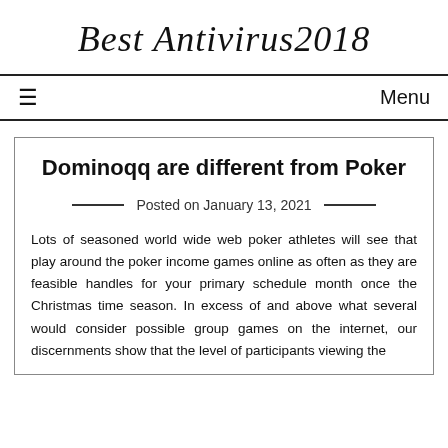Best Antivirus2018
≡  Menu
Dominoqq are different from Poker
Posted on January 13, 2021
Lots of seasoned world wide web poker athletes will see that play around the poker income games online as often as they are feasible handles for your primary schedule month once the Christmas time season. In excess of and above what several would consider possible group games on the internet, our discernments show that the level of participants viewing the